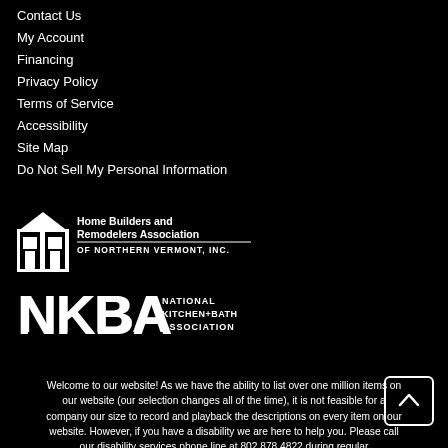Contact Us
My Account
Financing
Privacy Policy
Terms of Service
Accessibility
Site Map
Do Not Sell My Personal Information
[Figure (logo): Home Builders and Remodelers Association of Northern Vermont, Inc. logo with house icon]
[Figure (logo): NKBA National Kitchen+Bath Association logo]
Welcome to our website! As we have the ability to list over one million items on our website (our selection changes all of the time), it is not feasible for a company our size to record and playback the descriptions on every item on our website. However, if you have a disability we are here to help you. Please call our disability services phone line at 802.878.4822 during regular